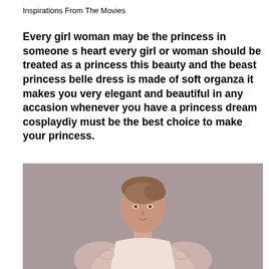Inspirations From The Movies
Every girl woman may be the princess in someone s heart every girl or woman should be treated as a princess this beauty and the beast princess belle dress is made of soft organza it makes you very elegant and beautiful in any accasion whenever you have a princess dream cosplaydiy must be the best choice to make your princess.
[Figure (photo): A young woman with auburn hair in an updo, wearing a light pink/white lace dress, photographed against a grey background, cropped at waist level showing her head and upper body.]